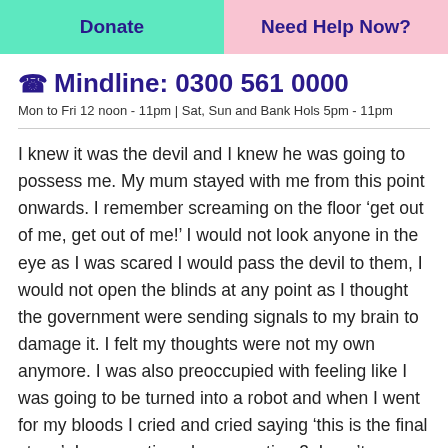Donate | Need Help Now?
Mindline: 0300 561 0000
Mon to Fri 12 noon - 11pm | Sat, Sun and Bank Hols 5pm - 11pm
I knew it was the devil and I knew he was going to possess me. My mum stayed with me from this point onwards. I remember screaming on the floor ‘get out of me, get out of me!’ I would not look anyone in the eye as I was scared I would pass the devil to them, I would not open the blinds at any point as I thought the government were sending signals to my brain to damage it. I felt my thoughts were not my own anymore. I was also preoccupied with feeling like I was going to be turned into a robot and when I went for my bloods I cried and cried saying ‘this is the final stage’. I was sectioned on a section 3. I can’t remember much about it other than a man saying why are you wearing